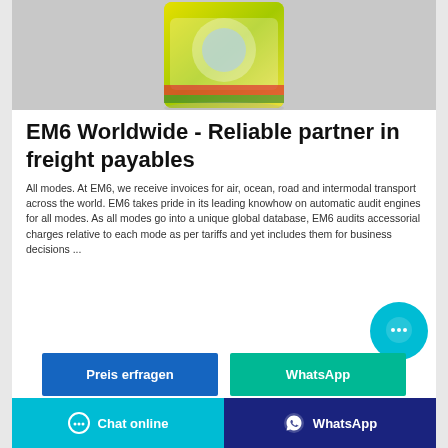[Figure (photo): Product photo of a yellow-green packaged consumer goods item (tea or similar product) on a grey background]
EM6 Worldwide - Reliable partner in freight payables
All modes. At EM6, we receive invoices for air, ocean, road and intermodal transport across the world. EM6 takes pride in its leading knowhow on automatic audit engines for all modes. As all modes go into a unique global database, EM6 audits accessorial charges relative to each mode as per tariffs and yet includes them for business decisions ...
[Figure (other): Circular chat bubble button with ellipsis icon in cyan/teal color]
Preis erfragen
WhatsApp
Chat online   WhatsApp